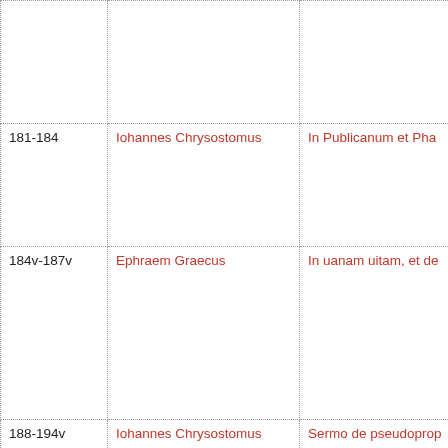| Folio | Author | Title |
| --- | --- | --- |
|  |  |  |
| 181-184 | Iohannes Chrysostomus | In Publicanum et Pha… |
| 184v-187v | Ephraem Graecus | In uanam uitam, et de… |
| 188-194v | Iohannes Chrysostomus | Sermo de pseudoprop… |
| 194v-200 | Basilius Caesariensis | De ieiunio 2 (Homilia) |
| 200-208v | Nectarius Constantinopolitanus | Sermo de festo S. The… |
| 209-226v | Sophronius Hierosolymitanus | Vita Mariae Aegyptiac… |
| 227-233… | Leontius Neapolitanus | Vita S. Johannis Elee… |